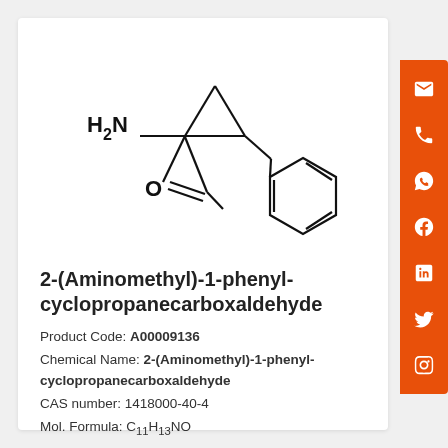[Figure (schematic): Chemical structure of 2-(Aminomethyl)-1-phenylcyclopropanecarboxaldehyde showing a cyclopropane ring with an aminomethyl group (H2N-CH2-), an aldehyde group (CHO), and a phenyl (benzene) ring substituent.]
2-(Aminomethyl)-1-phenyl-cyclopropanecarboxaldehyde
Product Code: A00009136
Chemical Name: 2-(Aminomethyl)-1-phenyl-cyclopropanecarboxaldehyde
CAS number: 1418000-40-4
Mol. Formula: C11H13NO